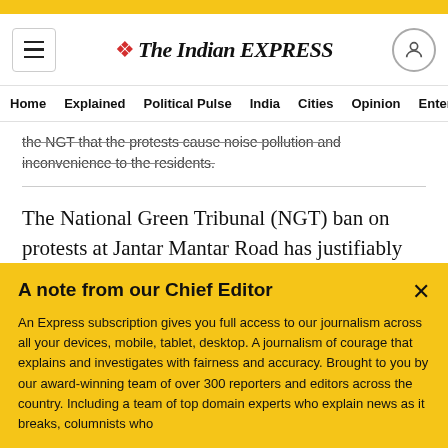The Indian EXPRESS
Home  Explained  Political Pulse  India  Cities  Opinion  Entertainment
the NGT that the protests cause noise pollution and inconvenience to the residents.
The National Green Tribunal (NGT) ban on protests at Jantar Mantar Road has justifiably raised apprehensions and concerns about the shrinking spaces for democratic dissent in the country's capital. Some permanent residents of
A note from our Chief Editor
An Express subscription gives you full access to our journalism across all your devices, mobile, tablet, desktop. A journalism of courage that explains and investigates with fairness and accuracy. Brought to you by our award-winning team of over 300 reporters and editors across the country. Including a team of top domain experts who explain news as it breaks, columnists who